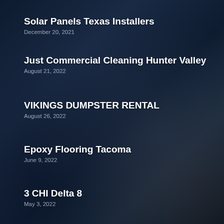Solar Panels Texas Installers
December 20, 2021
Just Commercial Cleaning Hunter Valley
August 21, 2022
VIKINGS DUMPSTER RENTAL
August 26, 2022
Epoxy Flooring Tacoma
June 9, 2022
3 CHI Delta 8
May 3, 2022